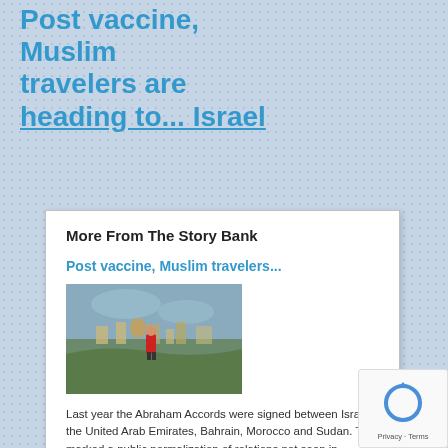Post vaccine, Muslim travelers are heading to... Israel
More From The Story Bank
Post vaccine, Muslim travelers...
[Figure (photo): A person in red jacket standing on a hilltop overlooking an ancient city skyline]
Last year the Abraham Accords were signed between Israel, the United Arab Emirates, Bahrain, Morocco and Sudan. This marked a public normalization of relations not seen in decades. And with this new ... [Read More...]
Meet the first Muslim head...
[Figure (photo): Football players on a sideline wearing jerseys numbered 30 and 33 with masks on]